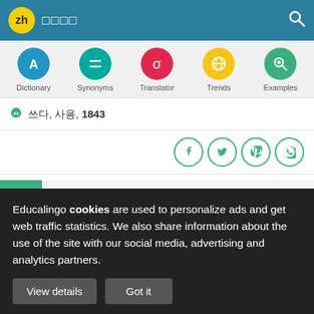[Figure (screenshot): App header bar with teal background, yellow 'zh' badge, Chinese characters, and search icon]
[Figure (screenshot): Navigation bar with five colored circle icons: Dictionary (blue, A), Synonyms (teal, equals), Translator (red, sigma), Trends (yellow, globe), Examples (green, magnifier)]
📚 쓰다, 사용, 1843
[Figure (screenshot): Social share icons row: Facebook, Twitter, Pinterest, WhatsApp - all in green circle outlines]
9  성경에서 - 약 38 회
Educalingo cookies are used to personalize ads and get web traffic statistics. We also share information about the use of the site with our social media, advertising and analytics partners.
View details
Got it